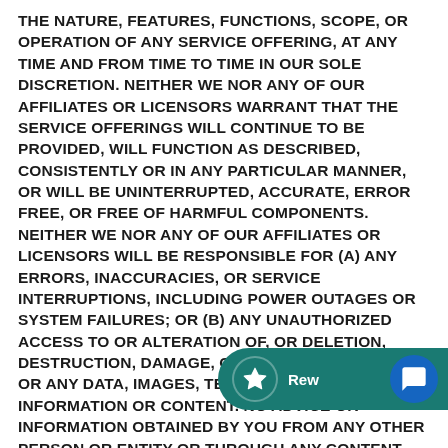THE NATURE, FEATURES, FUNCTIONS, SCOPE, OR OPERATION OF ANY SERVICE OFFERING, AT ANY TIME AND FROM TIME TO TIME IN OUR SOLE DISCRETION. NEITHER WE NOR ANY OF OUR AFFILIATES OR LICENSORS WARRANT THAT THE SERVICE OFFERINGS WILL CONTINUE TO BE PROVIDED, WILL FUNCTION AS DESCRIBED, CONSISTENTLY OR IN ANY PARTICULAR MANNER, OR WILL BE UNINTERRUPTED, ACCURATE, ERROR FREE, OR FREE OF HARMFUL COMPONENTS. NEITHER WE NOR ANY OF OUR AFFILIATES OR LICENSORS WILL BE RESPONSIBLE FOR (A) ANY ERRORS, INACCURACIES, OR SERVICE INTERRUPTIONS, INCLUDING POWER OUTAGES OR SYSTEM FAILURES; OR (B) ANY UNAUTHORIZED ACCESS TO OR ALTERATION OF, OR DELETION, DESTRUCTION, DAMAGE, OR LOSS OF, YOUR SITE OR ANY DATA, IMAGES, TEXT, OR OTHER INFORMATION OR CONTENT. NO ADVICE OR INFORMATION OBTAINED BY YOU FROM ANY OTHER PERSON OR ENTITY OR THROUGH ANY CONTENT, OPERATIONAL DOCUMENTATION, THE BOLDLY SITE, OR THE AFFILIATE-PROGRAM SITE WILL
[Figure (other): A dark teal rounded pill-shaped widget overlay showing a star icon on the left, 'Rew' text in the middle, and a blue circular chat bubble icon on the right — partially obscuring the document text.]